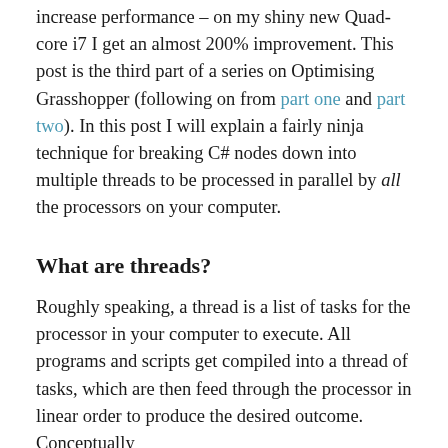increase performance – on my shiny new Quad-core i7 I get an almost 200% improvement. This post is the third part of a series on Optimising Grasshopper (following on from part one and part two). In this post I will explain a fairly ninja technique for breaking C# nodes down into multiple threads to be processed in parallel by all the processors on your computer.
What are threads?
Roughly speaking, a thread is a list of tasks for the processor in your computer to execute. All programs and scripts get compiled into a thread of tasks, which are then feed through the processor in linear order to produce the desired outcome. Conceptually this could be thought of as a chain of commands.